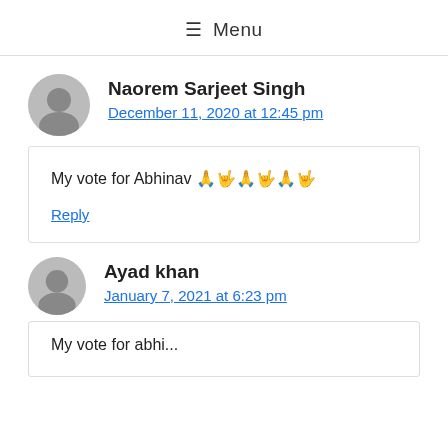≡ Menu
Naorem Sarjeet Singh
December 11, 2020 at 12:45 pm
My vote for Abhinav 🙏🏻🙏🏻🙏🏻
Reply
Ayad khan
January 7, 2021 at 6:23 pm
My vote for Abhi...